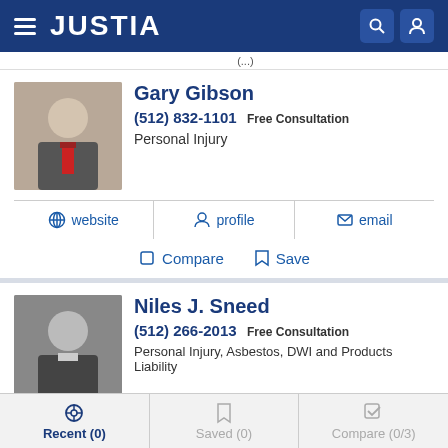JUSTIA
(...)
Gary Gibson
(512) 832-1101 Free Consultation
Personal Injury
website  profile  email
Compare  Save
Niles J. Sneed
(512) 266-2013 Free Consultation
Personal Injury, Asbestos, DWI and Products Liability
website  profile  email
Recent (0)  Saved (0)  Compare (0/3)